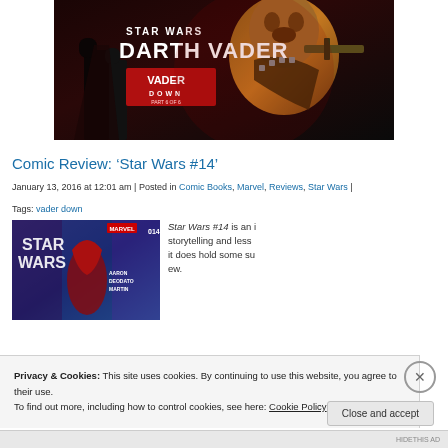[Figure (photo): Star Wars: Darth Vader – Vader Down Part 6 of 6 comic book cover featuring Chewbacca with a large weapon]
Comic Review: 'Star Wars #14'
January 13, 2016 at 12:01 am | Posted in Comic Books, Marvel, Reviews, Star Wars | [link]
Tags: vader down
[Figure (photo): Star Wars #14 Marvel comic cover with Aaron, Deodato, Martin credits]
Star Wars #14 is an i… storytelling and less… it does hold some su… ew.
Privacy & Cookies: This site uses cookies. By continuing to use this website, you agree to their use.
To find out more, including how to control cookies, see here: Cookie Policy
Close and accept